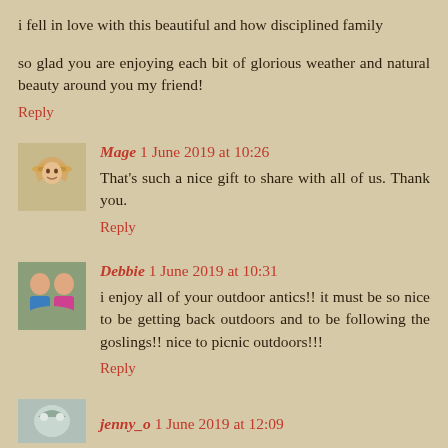i fell in love with this beautiful and how disciplined family
so glad you are enjoying each bit of glorious weather and natural beauty around you my friend!
Reply
Mage 1 June 2019 at 10:26
That's such a nice gift to share with all of us. Thank you.
Reply
Debbie 1 June 2019 at 10:31
i enjoy all of your outdoor antics!! it must be so nice to be getting back outdoors and to be following the goslings!! nice to picnic outdoors!!!
Reply
jenny_o 1 June 2019 at 12:09